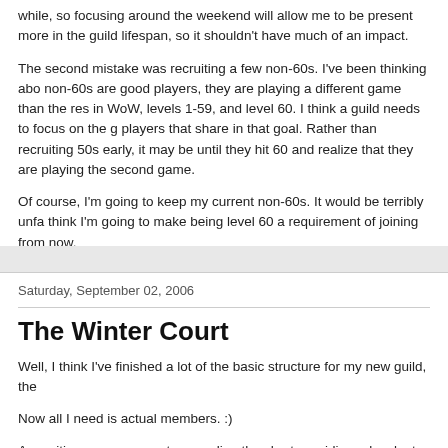while, so focusing around the weekend will allow me to be present more in the guild lifespan, so it shouldn't have much of an impact.
The second mistake was recruiting a few non-60s. I've been thinking about non-60s are good players, they are playing a different game than the rest in WoW, levels 1-59, and level 60. I think a guild needs to focus on the g players that share in that goal. Rather than recruiting 50s early, it may be until they hit 60 and realize that they are playing the second game.
Of course, I'm going to keep my current non-60s. It would be terribly unfa think I'm going to make being level 60 a requirement of joining from now.
Posted by Rohan at 12:06 PM    7 comments:
Saturday, September 02, 2006
The Winter Court
Well, I think I've finished a lot of the basic structure for my new guild, the
Now all I need is actual members. :)
Any critiques or comments regarding the charter, raiding rules, loot syste